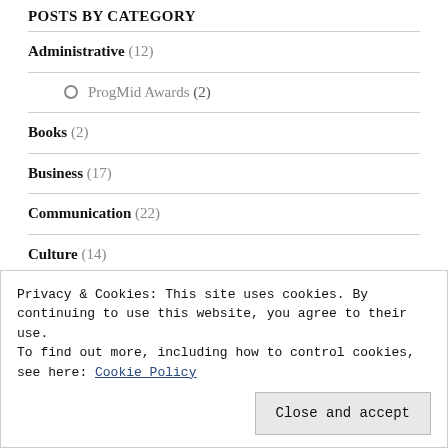POSTS BY CATEGORY
Administrative (12)
ProgMid Awards (2)
Books (2)
Business (17)
Communication (22)
Culture (14)
Disabilities (5)
Higher Education (6)
Privacy & Cookies: This site uses cookies. By continuing to use this website, you agree to their use.
To find out more, including how to control cookies, see here: Cookie Policy
[Close and accept]